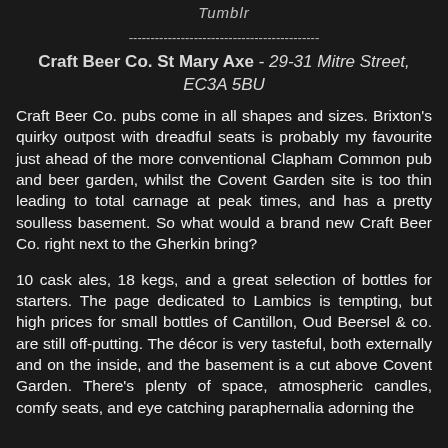Tumblr
--------------------------------------------
Craft Beer Co. St Mary Axe - 29-31 Mitre Street, EC3A 5BU
Craft Beer Co. pubs come in all shapes and sizes. Brixton's quirky outpost with dreadful seats is probably my favourite just ahead of the more conventional Clapham Common pub and beer garden, whilst the Covent Garden site is too thin leading to total carnage at peak times, and has a pretty soulless basement. So what would a brand new Craft Beer Co. right next to the Gherkin bring?
10 cask ales, 18 kegs, and a great selection of bottles for starters. The page dedicated to Lambics is tempting, but high prices for small bottles of Cantillon, Oud Beersel & co. are still off-putting. The décor is very tasteful, both externally and on the inside, and the basement is a cut above Covent Garden. There's plenty of space, atmospheric candles, comfy seats, and eye catching paraphernalia adorning the